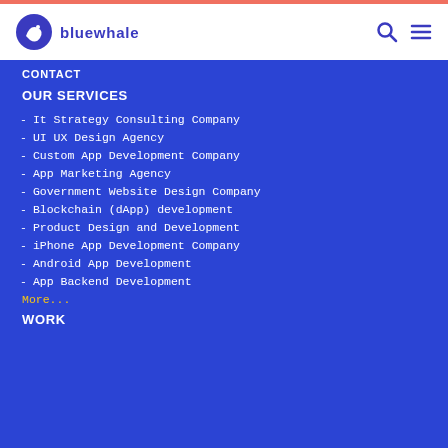bluewhale
CONTACT
OUR SERVICES
It Strategy Consulting Company
UI UX Design Agency
Custom App Development Company
App Marketing Agency
Government Website Design Company
Blockchain (dApp) development
Product Design and Development
iPhone App Development Company
Android App Development
App Backend Development
More...
WORK